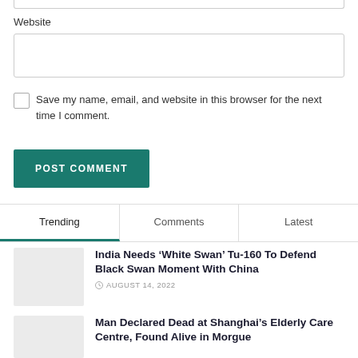Website
Save my name, email, and website in this browser for the next time I comment.
POST COMMENT
Trending
Comments
Latest
India Needs ‘White Swan’ Tu-160 To Defend Black Swan Moment With China
AUGUST 14, 2022
Man Declared Dead at Shanghai’s Elderly Care Centre, Found Alive in Morgue